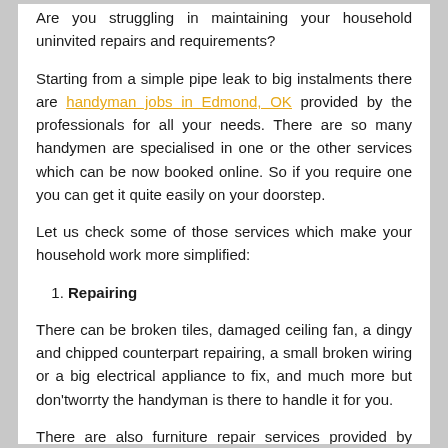Are you struggling in maintaining your household uninvited repairs and requirements?
Starting from a simple pipe leak to big instalments there are handyman jobs in Edmond, OK provided by the professionals for all your needs. There are so many handymen are specialised in one or the other services which can be now booked online. So if you require one you can get it quite easily on your doorstep.
Let us check some of those services which make your household work more simplified:
1. Repairing
There can be broken tiles, damaged ceiling fan, a dingy and chipped counterpart repairing, a small broken wiring or a big electrical appliance to fix, and much more but don'tworrty the handyman is there to handle it for you.
There are also furniture repair services provided by them where you don't need to keep waiting for the carpenters